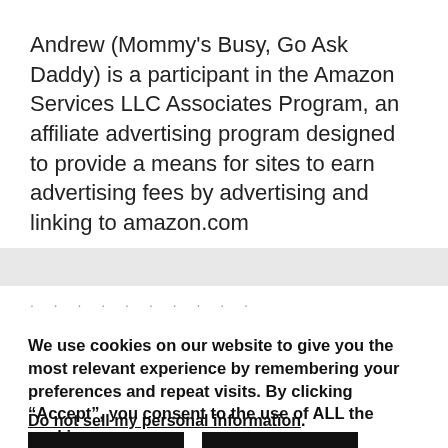Andrew (Mommy's Busy, Go Ask Daddy) is a participant in the Amazon Services LLC Associates Program, an affiliate advertising program designed to provide a means for sites to earn advertising fees by advertising and linking to amazon.com
We use cookies on our website to give you the most relevant experience by remembering your preferences and repeat visits. By clicking “Accept”, you consent to the use of ALL the cookies.
Do not sell my personal information.
Settings  Accept